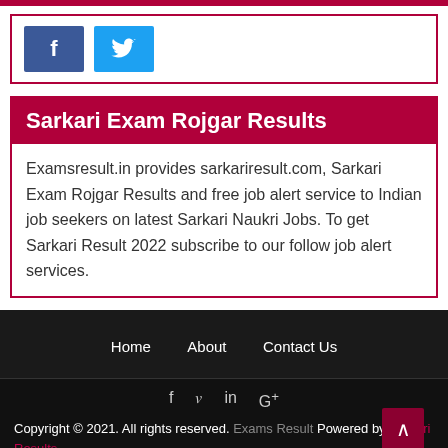[Figure (other): Social share buttons: Facebook (dark blue) and Twitter (light blue)]
Sarkari Exam Rojgar Results
Examsresult.in provides sarkariresult.com, Sarkari Exam Rojgar Results and free job alert service to Indian job seekers on latest Sarkari Naukri Jobs. To get Sarkari Result 2022 subscribe to our follow job alert services.
Home   About   Contact Us
f  y  in  G+  Copyright © 2021. All rights reserved. Exams Result Powered by Sarkari Results